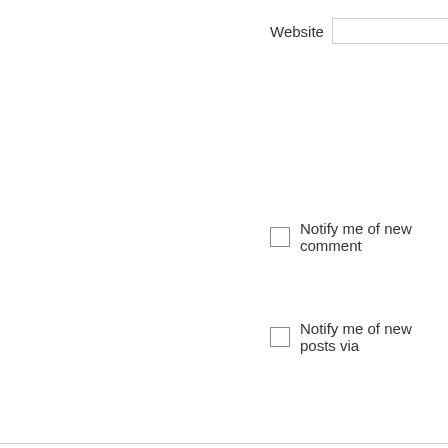Website
Post Comment
Notify me of new comment
Notify me of new posts via
Blog at WordPress.com.